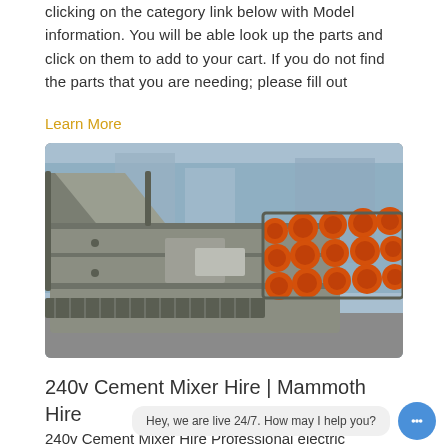clicking on the category link below with Model information. You will be able look up the parts and click on them to add to your cart. If you do not find the parts that you are needing; please fill out
Learn More
[Figure (photo): Industrial vibrating feeder or screening machine with orange motor units mounted on the side, viewed in an outdoor industrial setting.]
240v Cement Mixer Hire | Mammoth Hire
240v Cement Mixer Hire Professional electric concrete